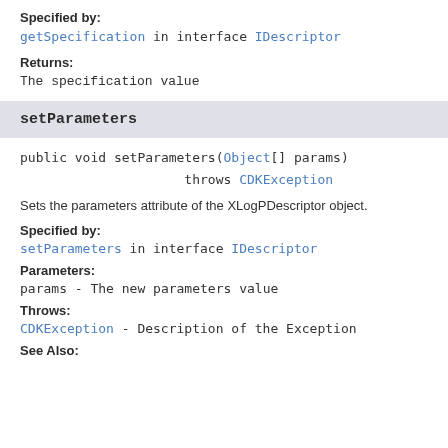Specified by:
getSpecification in interface IDescriptor
Returns:
The specification value
setParameters
public void setParameters(Object[] params)
                    throws CDKException
Sets the parameters attribute of the XLogPDescriptor object.
Specified by:
setParameters in interface IDescriptor
Parameters:
params - The new parameters value
Throws:
CDKException - Description of the Exception
See Also: